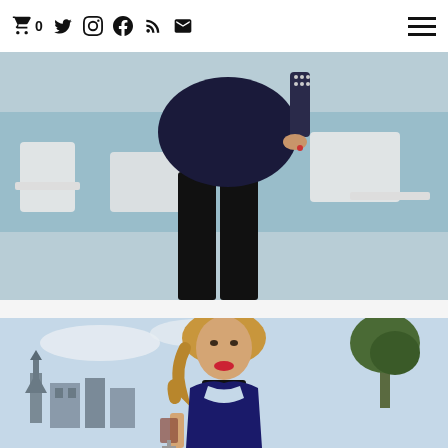Shopping cart 0 | Twitter | Instagram | Facebook | RSS | Email | Menu
[Figure (photo): Close-up fashion photo of a woman wearing a short dark navy/black velvet dress and black over-the-knee boots, standing near white patio chairs beside a pool]
[Figure (photo): Fashion photo of a woman with blonde hair wearing a navy blue halter dress with choker detail, holding a drink, with a European city skyline and tree in the background]